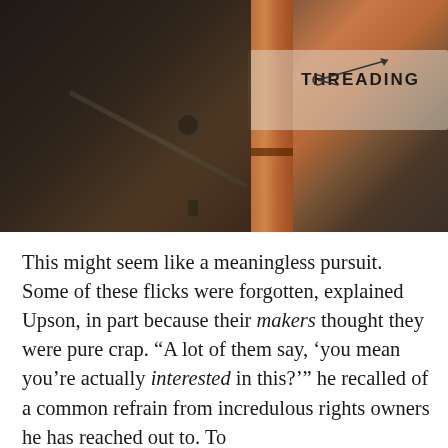[Figure (photo): Close-up photograph of what appears to be a film threading mechanism or projector part, with a reddish-brown film strip or tape, a circular eyelet, and a stick or rod in the foreground. The word 'THREADING' is printed on a white surface visible in the upper right of the image.]
This might seem like a meaningless pursuit. Some of these flicks were forgotten, explained Upson, in part because their makers thought they were pure crap. “A lot of them say, ‘you mean you’re actually interested in this?’” he recalled of a common refrain from incredulous rights owners he has reached out to. To